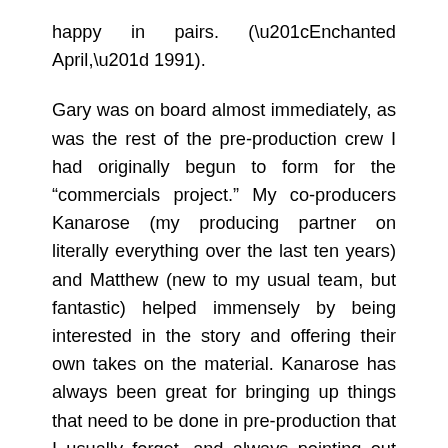happy in pairs. (“Enchanted April,” 1991).
Gary was on board almost immediately, as was the rest of the pre-production crew I had originally begun to form for the “commercials project.” My co-producers Kanarose (my producing partner on literally everything over the last ten years) and Matthew (new to my usual team, but fantastic) helped immensely by being interested in the story and offering their own takes on the material. Kanarose has always been great for bringing up things that need to be done in pre-production that I usually forget, and always pointing out where I’m being stupid